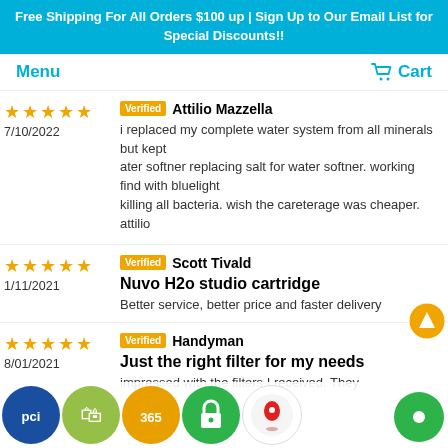Free Shipping For All Orders $100 up | Sign Up to Our Email List for Special Discounts!!
Menu
Cart
★★★★★ 7/10/2022 | Verified Attilio Mazzella | i replaced my complete water system from all minerals but kept ater softner replacing salt for water softner. working find with bluelight killing all bacteria. wish the careterage was cheaper. attilio
★★★★★ 1/11/2021 | Verified Scott Tivald | Nuvo H2o studio cartridge | Better service, better price and faster delivery
★★★★★ 8/01/2021 | Verified Handyman | Just the right filter for my needs | impressed with the filters I received. They